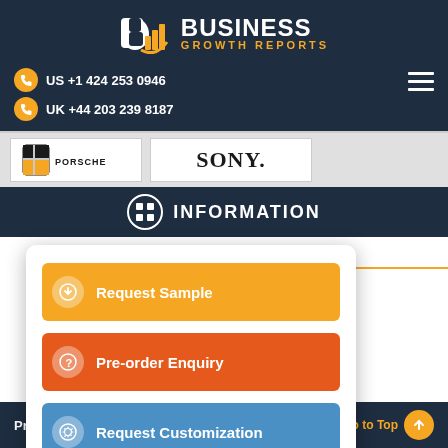[Figure (logo): Business Growth Reports logo with orange bar chart icon and white/orange text]
US +1 424 253 0946
UK +44 203 239 8187
[Figure (logo): Porsche logo]
[Figure (logo): Sony logo]
INFORMATION
Request Sample
Pre-order Enquiry
Request Customization
Privacy Policy
go to Top